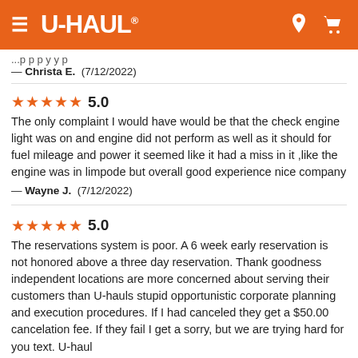U-HAUL
— Christa E.  (7/12/2022)
★★★★★ 5.0
The only complaint I would have would be that the check engine light was on and engine did not perform as well as it should for fuel mileage and power it seemed like it had a miss in it ,like the engine was in limpode but overall good experience nice company
— Wayne J.  (7/12/2022)
★★★★★ 5.0
The reservations system is poor. A 6 week early reservation is not honored above a three day reservation. Thank goodness independent locations are more concerned about serving their customers than U-hauls stupid opportunistic corporate planning and execution procedures. If I had canceled they get a $50.00 cancelation fee. If they fail I get a sorry, but we are trying hard for you text. U-haul